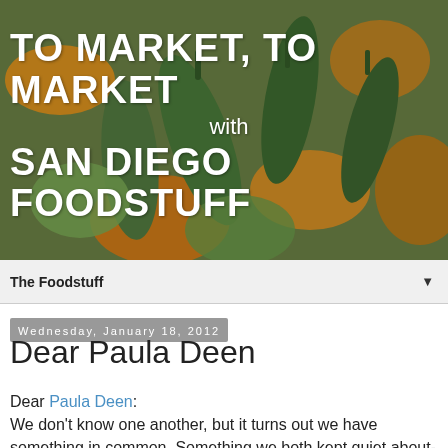[Figure (photo): Header photo of colorful squash/zucchini with orange flowers and green squash at a farmers market, with overlaid white text: 'TO MARKET, TO MARKET with SAN DIEGO FOODSTUFF' and subtitle 'FABULOUS FOOD FINDS AND THE MAKINGS OF A GREAT MEAL']
The Foodstuff ▼
Wednesday, January 18, 2012
Dear Paula Deen
Dear Paula Deen: We don't know one another, but it turns out we have something in common. Something we both kept quiet about-- but for different reasons. maybe that's it. About 13...